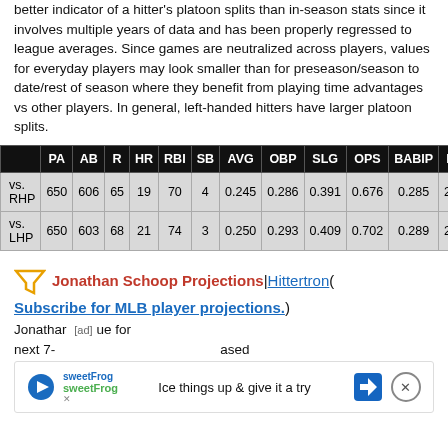better indicator of a hitter's platoon splits than in-season stats since it involves multiple years of data and has been properly regressed to league averages. Since games are neutralized across players, values for everyday players may look smaller than for preseason/season to date/rest of season where they benefit from playing time advantages vs other players. In general, left-handed hitters have larger platoon splits.
|  | PA | AB | R | HR | RBI | SB | AVG | OBP | SLG | OPS | BABIP | K% | B |
| --- | --- | --- | --- | --- | --- | --- | --- | --- | --- | --- | --- | --- | --- |
| vs. RHP | 650 | 606 | 65 | 19 | 70 | 4 | 0.245 | 0.286 | 0.391 | 0.676 | 0.285 | 21.0 | 4 |
| vs. LHP | 650 | 603 | 68 | 21 | 74 | 3 | 0.250 | 0.293 | 0.409 | 0.702 | 0.289 | 21.3 | 5 |
Jonathan Schoop Projections | Hittertron (Subscribe for MLB player projections.)
Jonathan ... ue for next 7-... ased